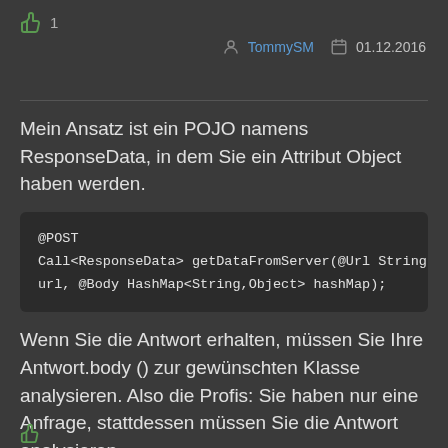👍 1
TommySM  01.12.2016
Mein Ansatz ist ein POJO namens ResponseData, in dem Sie ein Attribut Object haben werden.
@POST
Call<ResponseData> getDataFromServer(@Url String url, @Body HashMap<String,Object> hashMap);
Wenn Sie die Antwort erhalten, müssen Sie Ihre Antwort.body () zur gewünschten Klasse analysieren. Also die Profis: Sie haben nur eine Anfrage, stattdessen müssen Sie die Antwort analysieren.